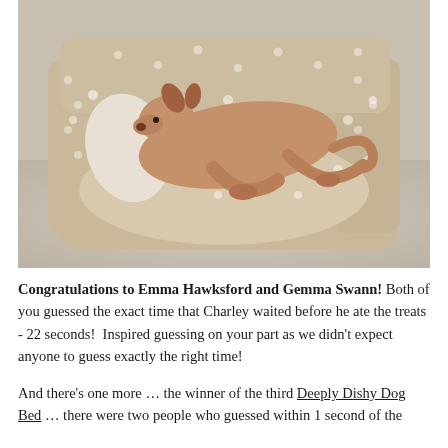[Figure (photo): A slender greyhound/Italian greyhound dog resting curled up in a large beige polka-dot dog bed on a shaggy cream carpet.]
Congratulations to Emma Hawksford and Gemma Swann! Both of you guessed the exact time that Charley waited before he ate the treats  - 22 seconds!  Inspired guessing on your part as we didn't expect anyone to guess exactly the right time!
And there's one more … the winner of the third Deeply Dishy Dog Bed … there were two people who guessed within 1 second of the